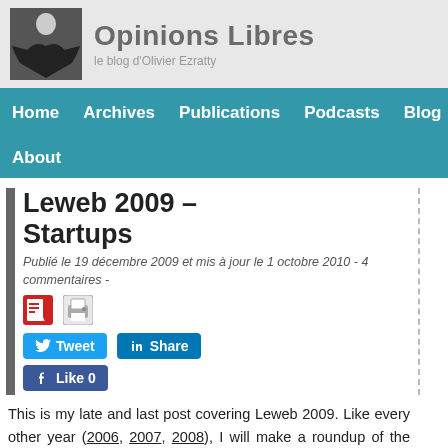Opinions Libres — le blog d'Olivier Ezratty
Home   Archives   Publications   Podcasts   Blog   About
Leweb 2009 – Startups
Publié le 19 décembre 2009 et mis à jour le 1 octobre 2010 - 4 commentaires -
[Figure (other): PDF and print icons]
[Figure (other): Tweet, Share, and Like 0 social buttons]
This is my late and last post covering Leweb 2009. Like every other year (2006, 2007, 2008), I will make a roundup of the presenting startups in the conference.